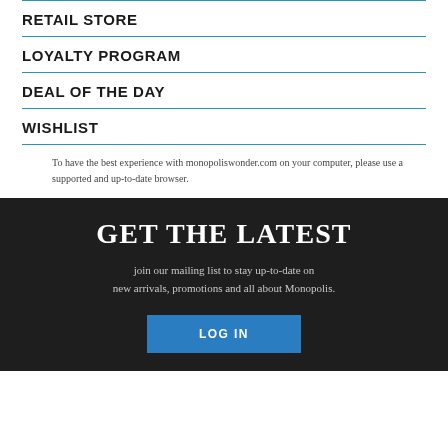RETAIL STORE
LOYALTY PROGRAM
DEAL OF THE DAY
WISHLIST
To have the best experience with monopoliswonder.com on your computer, please use a supported and up-to-date browser.
GET THE LATEST
join our mailing list to stay up-to-date on new arrivals, promotions and all about Monopolis.
LOG IN